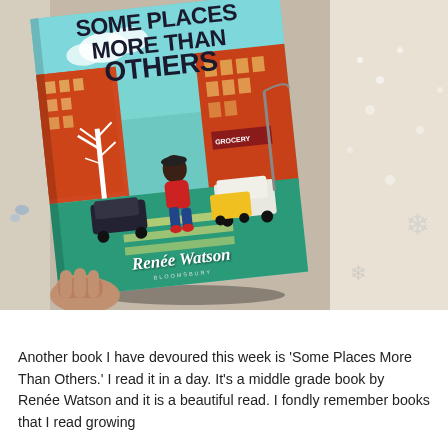[Figure (photo): A hand holding a copy of the book 'Some Places More Than Others' by Renée Watson, published by Bloomsbury. The book cover shows a young Black girl walking on a city street crosswalk surrounded by orange-red urban buildings, bare white trees, and cars. The background behind the book shows a white lace tablecloth.]
Another book I have devoured this week is 'Some Places More Than Others.' I read it in a day. It's a middle grade book by Renée Watson and it is a beautiful read. I fondly remember books that I read growing